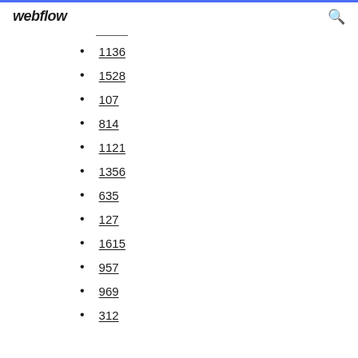webflow
1136
1528
107
814
1121
1356
635
127
1615
957
969
312